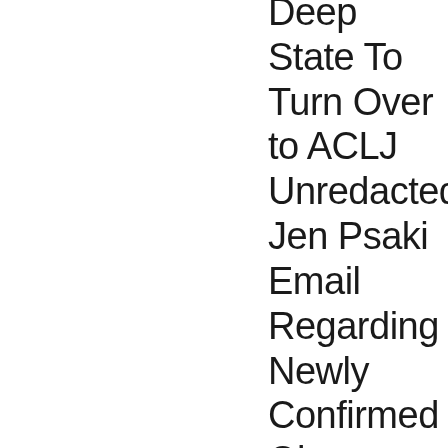Orders Biden Deep State To Turn Over to ACLJ Unredacted Jen Psaki Email Regarding Newly Confirmed Obama-Biden Administration “Meeting” About the Iran Deal